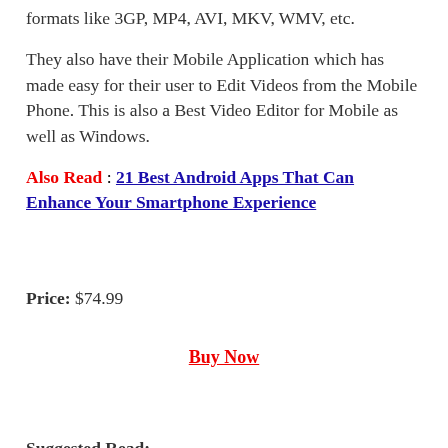formats like 3GP, MP4, AVI, MKV, WMV, etc.
They also have their Mobile Application which has made easy for their user to Edit Videos from the Mobile Phone. This is also a Best Video Editor for Mobile as well as Windows.
Also Read : 21 Best Android Apps That Can Enhance Your Smartphone Experience
Price: $74.99
Buy Now
Suggested Read: